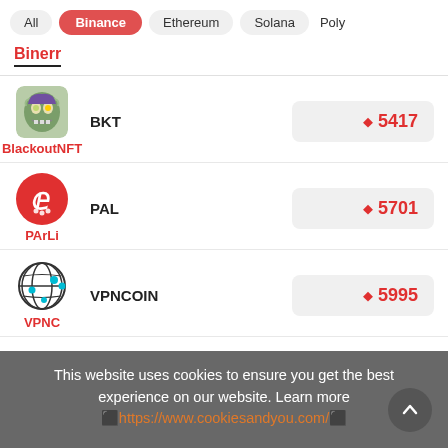All  Binance  Ethereum  Solana  Poly
Binerr
BlackoutNFT  BKT  5417
PArLi  PAL  5701
VPNCOIN  5995
VPNC
This website uses cookies to ensure you get the best experience on our website. Learn more https://www.cookiesandyou.com/